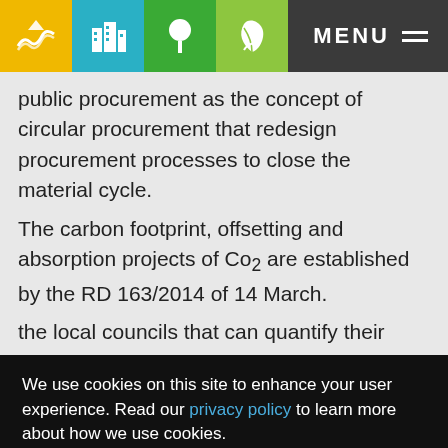MENU (navigation icons: sea/waves, buildings, tree, leaf/hand)
public procurement as the concept of circular procurement that redesign procurement processes to close the material cycle.
The carbon footprint, offsetting and absorption projects of Co2 are established by the RD 163/2014 of 14 March.
the local councils that can quantify their carbon footprint in order to launch initiatives that try to
We use cookies on this site to enhance your user experience. Read our privacy policy to learn more about how we use cookies.
I accept all cookies | I refuse optional cookies